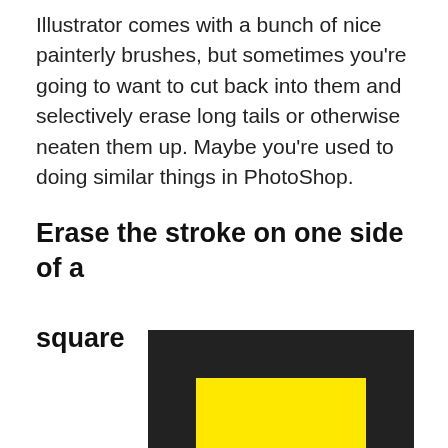Illustrator comes with a bunch of nice painterly brushes, but sometimes you're going to want to cut back into them and selectively erase long tails or otherwise neaten them up. Maybe you're used to doing similar things in PhotoShop.
Erase the stroke on one side of a square
[Figure (illustration): A square shape with a thick dark/black border stroke, where the top-right portion shows the stroke overlapping with a yellow filled rectangle inside, creating an illustration of erasing one side of a square's stroke in Illustrator.]